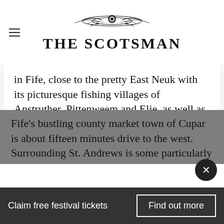THE SCOTSMAN
in Fife, close to the pretty East Neuk with its picturesque fishing villages of Anstruther, Pittenweem and Elie, as well as its charming and varied coast line.
Picture: the cottage was the birthplace of Jock Hutchison, Galbraith
Fife's bustling county market town of Cupar is about fifteen minutes drive to the west. Surrounding St. Andrews is some particularly
Claim free festival tickets
Find out more